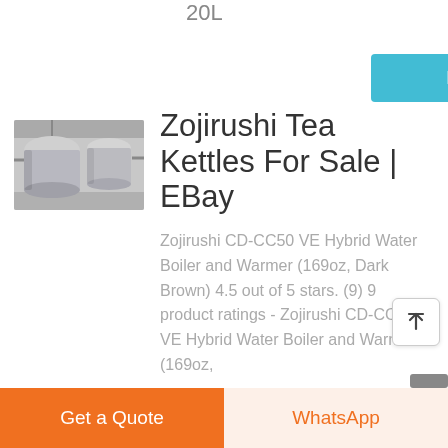20L
learn More
[Figure (photo): Industrial/factory machinery, large cylindrical equipment in a warehouse or factory setting]
Zojirushi Tea Kettles For Sale | EBay
Zojirushi CD-CC50 VE Hybrid Water Boiler and Warmer (169oz, Dark Brown) 4.5 out of 5 stars. (9) 9 product ratings - Zojirushi CD-CC50 VE Hybrid Water Boiler and Warmer (169oz,
Get a Quote
WhatsApp